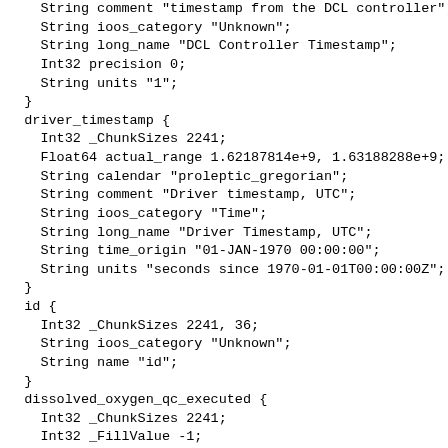String comment "timestamp from the DCL controller";
    String ioos_category "Unknown";
    String long_name "DCL Controller Timestamp";
    Int32 precision 0;
    String units "1";
  }
  driver_timestamp {
    Int32 _ChunkSizes 2241;
    Float64 actual_range 1.62187814e+9, 1.63188288e+9;
    String calendar "proleptic_gregorian";
    String comment "Driver timestamp, UTC";
    String ioos_category "Time";
    String long_name "Driver Timestamp, UTC";
    String time_origin "01-JAN-1970 00:00:00";
    String units "seconds since 1970-01-01T00:00:00Z";
  }
  id {
    Int32 _ChunkSizes 2241, 36;
    String ioos_category "Unknown";
    String name "id";
  }
  dissolved_oxygen_qc_executed {
    Int32 _ChunkSizes 2241;
    Int32 _FillValue -1;
    String _Unsigned "true";
    Int32 actual_range 29, 29;